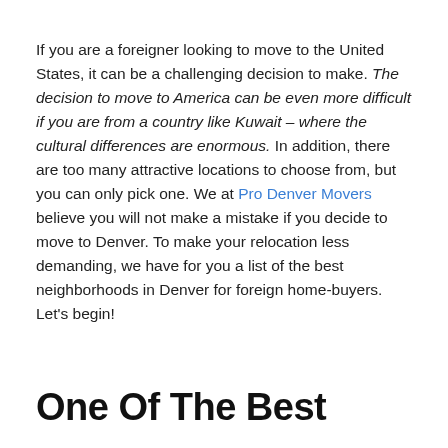If you are a foreigner looking to move to the United States, it can be a challenging decision to make. The decision to move to America can be even more difficult if you are from a country like Kuwait – where the cultural differences are enormous. In addition, there are too many attractive locations to choose from, but you can only pick one. We at Pro Denver Movers believe you will not make a mistake if you decide to move to Denver. To make your relocation less demanding, we have for you a list of the best neighborhoods in Denver for foreign home-buyers. Let's begin!
One Of The Best